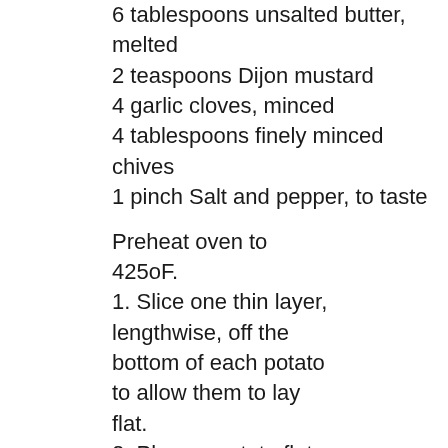6 tablespoons unsalted butter, melted
2 teaspoons Dijon mustard
4 garlic cloves, minced
4 tablespoons finely minced chives
1 pinch Salt and pepper, to taste
Preheat oven to 425oF.
1. Slice one thin layer, lengthwise, off the bottom of each potato to allow them to lay flat.
2. Place a potato flat side-down and use a sharp knife to make slices that are about 1/8-inch apart; slice into the potato but not completely through it — the slices should stay connected at the bottom.
3. Carefully fan out the sliced pieces without breaking them apart. Repeat with each potato. In a small mixing bowl, combine the melted